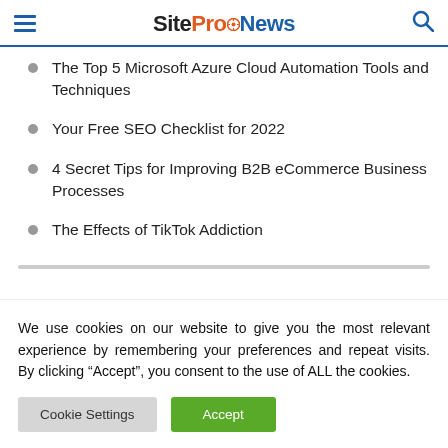SiteProNews
The Top 5 Microsoft Azure Cloud Automation Tools and Techniques
Your Free SEO Checklist for 2022
4 Secret Tips for Improving B2B eCommerce Business Processes
The Effects of TikTok Addiction
We use cookies on our website to give you the most relevant experience by remembering your preferences and repeat visits. By clicking “Accept”, you consent to the use of ALL the cookies.